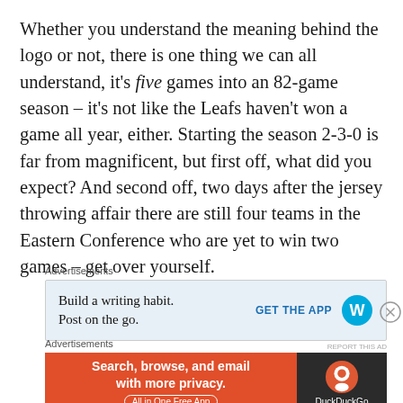Whether you understand the meaning behind the logo or not, there is one thing we can all understand, it's five games into an 82-game season – it's not like the Leafs haven't won a game all year, either. Starting the season 2-3-0 is far from magnificent, but first off, what did you expect? And second off, two days after the jersey throwing affair there are still four teams in the Eastern Conference who are yet to win two games – get over yourself.
Advertisements
[Figure (other): Advertisement for WordPress app: 'Build a writing habit. Post on the go.' with GET THE APP button and WordPress logo]
Advertisements
[Figure (other): Advertisement for DuckDuckGo: 'Search, browse, and email with more privacy. All in One Free App' with DuckDuckGo logo on dark background]